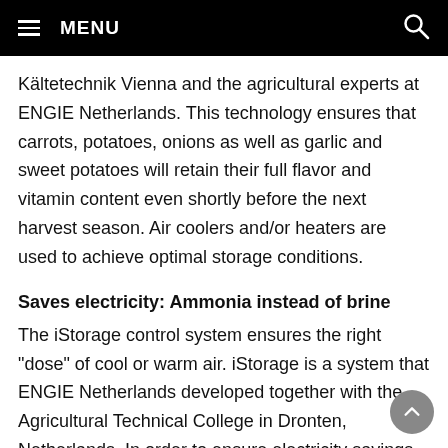MENU
Kältetechnik Vienna and the agricultural experts at ENGIE Netherlands. This technology ensures that carrots, potatoes, onions as well as garlic and sweet potatoes will retain their full flavor and vitamin content even shortly before the next harvest season. Air coolers and/or heaters are used to achieve optimal storage conditions.
Saves electricity: Ammonia instead of brine
The iStorage control system ensures the right "dose" of cool or warm air. iStorage is a system that ENGIE Netherlands developed together with the Agricultural Technical College in Dronten, Netherlands. In order to ensure electricity savings, the cooling system operates using direct evaporators. "We intentionally avoided using brine in the building," explains Peter Kratzer, who